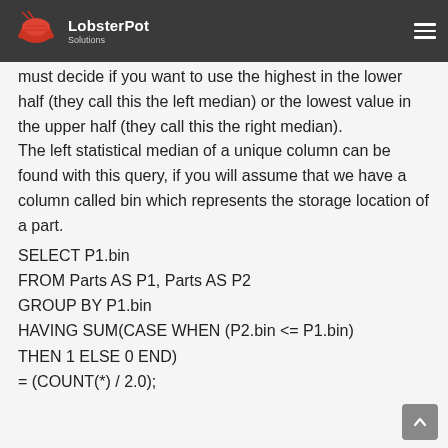LobsterPot Solutions
must decide if you want to use the highest in the lower half (they call this the left median) or the lowest value in the upper half (they call this the right median).
The left statistical median of a unique column can be found with this query, if you will assume that we have a column called bin which represents the storage location of a part.
SELECT P1.bin
FROM Parts AS P1, Parts AS P2
GROUP BY P1.bin
HAVING SUM(CASE WHEN (P2.bin <= P1.bin)
THEN 1 ELSE 0 END)
= (COUNT(*) / 2.0);